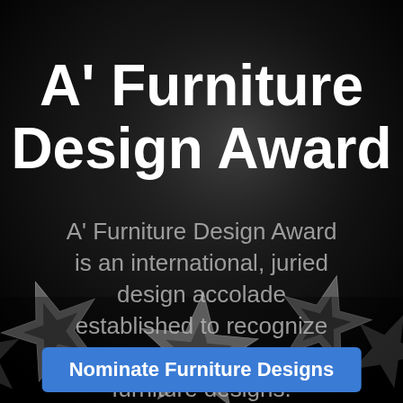[Figure (photo): Black and white background photo showing metallic star-shaped award trophies arranged across the lower portion of the image, on a dark background.]
A' Furniture Design Award
A' Furniture Design Award is an international, juried design accolade established to recognize and promote good furniture designs.
Nominate Furniture Designs